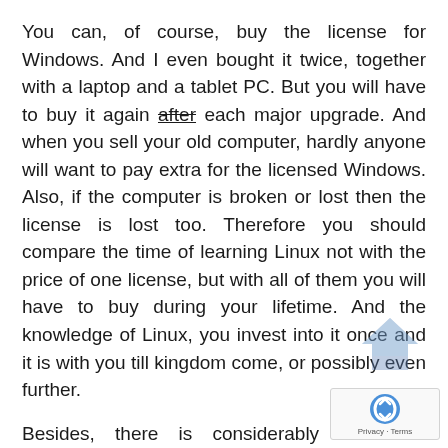You can, of course, buy the license for Windows. And I even bought it twice, together with a laptop and a tablet PC. But you will have to buy it again after each major upgrade. And when you sell your old computer, hardly anyone will want to pay extra for the licensed Windows. Also, if the computer is broken or lost then the license is lost too. Therefore you should compare the time of learning Linux not with the price of one license, but with all of them you will have to buy during your lifetime. And the knowledge of Linux, you invest into it once and it is with you till kingdom come, or possibly even further.
Besides, there is considerably less free software under Windows, so you should take into account the cost of application software too.